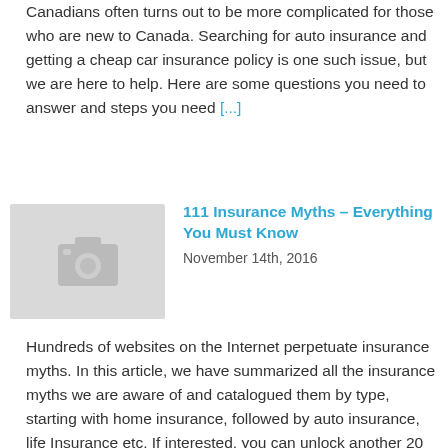Canadians often turns out to be more complicated for those who are new to Canada. Searching for auto insurance and getting a cheap car insurance policy is one such issue, but we are here to help. Here are some questions you need to answer and steps you need [...]
111 Insurance Myths – Everything You Must Know
November 14th, 2016
[Figure (photo): Placeholder image thumbnail with camera icon, gray background]
Hundreds of websites on the Internet perpetuate insurance myths. In this article, we have summarized all the insurance myths we are aware of and catalogued them by type, starting with home insurance, followed by auto insurance, life Insurance etc. If interested, you can unlock another 20 additional insurance myths at the end of our article. [...]